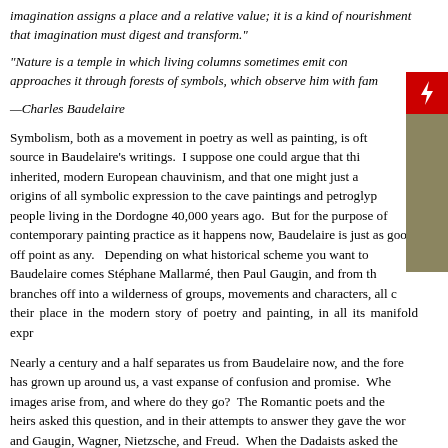imagination assigns a place and a relative value; it is a kind of nourishment that imagination must digest and transform."
"Nature is a temple in which living columns sometimes emit confused words; Man approaches it through forests of symbols, which observe him with familiar glances."
—Charles Baudelaire
[Figure (other): Adobe Flash plugin icon (red square with lightning bolt) overlapping with a khaki/olive colored sidebar panel on the right edge of the page.]
Symbolism, both as a movement in poetry as well as painting, is often traced to its source in Baudelaire's writings. I suppose one could argue that this is a kind of inherited, modern European chauvinism, and that one might just as easily trace the origins of all symbolic expression to the cave paintings and petroglyphs of the people living in the Dordogne 40,000 years ago. But for the purpose of discussing contemporary painting practice as it happens now, Baudelaire is just as good a jumping off point as any. Depending on what historical scheme you want to follow, after Baudelaire comes Stéphane Mallarmé, then Paul Gaugin, and from there the story branches off into a wilderness of groups, movements and characters, all competing for their place in the modern story of poetry and painting, in all its manifold expressions.
Nearly a century and a half separates us from Baudelaire now, and the forest of images has grown up around us, a vast expanse of confusion and promise. Where do the images arise from, and where do they go? The Romantic poets and their Symbolist heirs asked this question, and in their attempts to answer they gave the world Mallarmé and Gaugin, Wagner, Nietzsche, and Freud. When the Dadaists asked the question they gave rise to Surrealism. Perhaps it was Warhol who joked that when late twentieth century modernism asks these questions, they get the internet, along with corporate logos and advertising as a response; but Andy Warhol died before the internet came into being, so it probably wasn't him. Compared to Baudelaire's